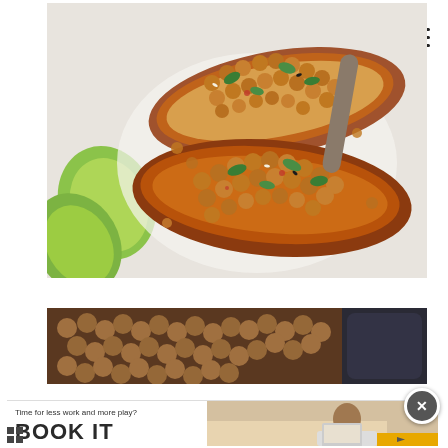[Figure (photo): Top-down view of two baked sweet potato halves topped with spiced chickpeas, fresh herbs (basil/cilantro), sesame seeds, and lime wedges on a white plate]
[Figure (photo): Close-up overhead view of dried chickpeas/legumes in a bowl next to a pot or appliance]
[Figure (photo): Advertisement banner: 'Time for less work and more play? BOOK IT' with image of person working on laptop at home]